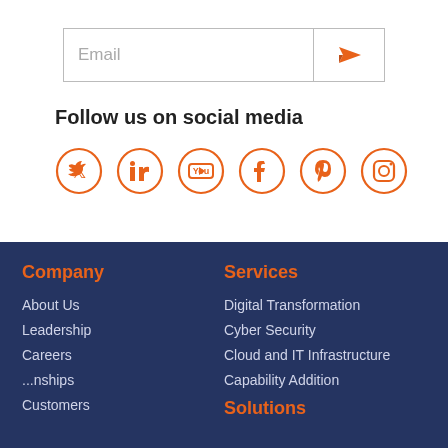[Figure (other): Email input box with orange send/arrow button on the right]
Follow us on social media
[Figure (other): Six circular orange social media icons: Twitter, LinkedIn, YouTube, Facebook, Pinterest, Instagram]
Company
About Us
Leadership
Careers
...nships
Customers
Services
Digital Transformation
Cyber Security
Cloud and IT Infrastructure
Capability Addition
Solutions